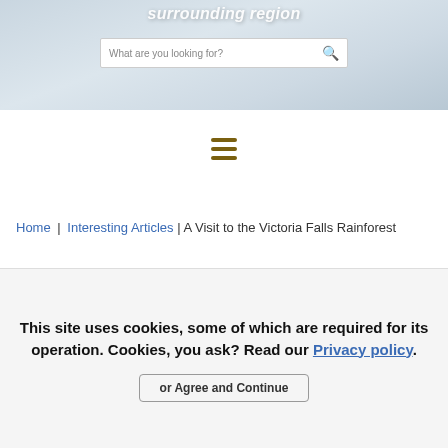[Figure (screenshot): Hero banner with light blue-grey blurred background showing text 'surrounding region' in italic white and a search bar reading 'What are you looking for?']
[Figure (other): Hamburger menu icon with three horizontal dark gold/brown bars]
Home | Interesting Articles | A Visit to the Victoria Falls Rainforest
This site uses cookies, some of which are required for its operation. Cookies, you ask? Read our Privacy policy. or Agree and Continue